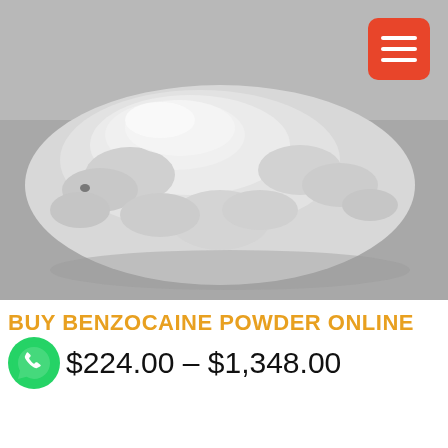[Figure (photo): Photograph of a pile of white powder (benzocaine) on a grey/white surface, with a red hamburger menu button in the top right corner.]
BUY BENZOCAINE POWDER ONLINE
[Figure (logo): WhatsApp green circular logo icon]
$224.00 – $1,348.00